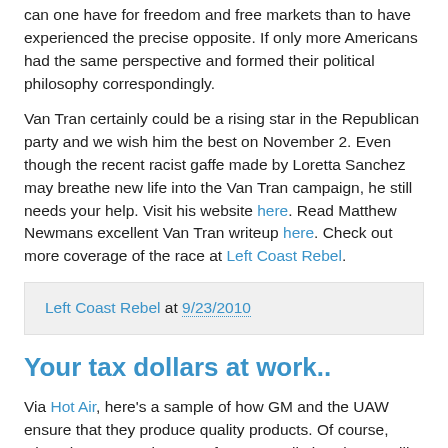can one have for freedom and free markets than to have experienced the precise opposite. If only more Americans had the same perspective and formed their political philosophy correspondingly.
Van Tran certainly could be a rising star in the Republican party and we wish him the best on November 2. Even though the recent racist gaffe made by Loretta Sanchez may breathe new life into the Van Tran campaign, he still needs your help. Visit his website here. Read Matthew Newmans excellent Van Tran writeup here. Check out more coverage of the race at Left Coast Rebel.
Left Coast Rebel at 9/23/2010
Your tax dollars at work..
Via Hot Air, here's a sample of how GM and the UAW ensure that they produce quality products. Of course, when the C-IN-C shows up for a pep talk, it's always Miller Time.